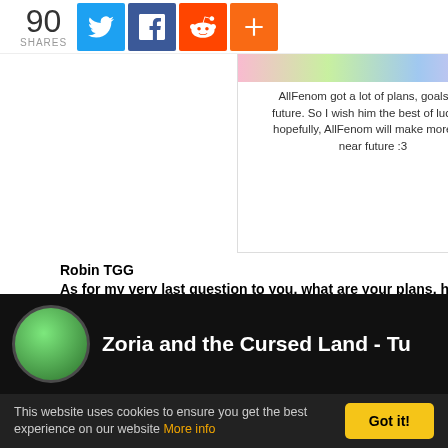90 SHARES [Twitter] [Facebook] [Reddit] [+]
AllFenom got a lot of plans, goals, and ambitions for the future. So I wish him the best of luck with it and hopefully, AllFenom will make more lewd stuff in the near future :3
Robin TGG
As for my very last question to you, what are your plans, hopes, and dreams for the future, and is there anything else that you would like to say to our readers?
AllFenom
I really want to get this tutorial area done and keep working in the store to make progress when I get stuck in working on something for too long.
Thanks for the interesting questions! And I'm sorry if the answers we...
[Figure (screenshot): Bottom banner showing 'Zoria and the Cursed Land - Tu...' with green character avatar on black background]
This website uses cookies to ensure you get the best experience on our website More info | Got it!